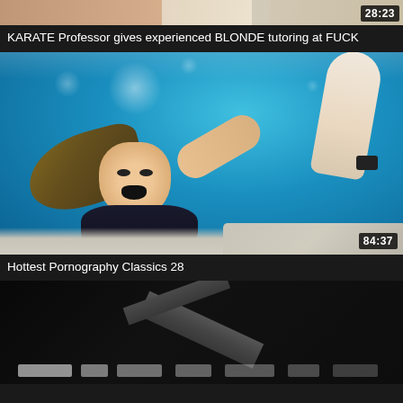[Figure (photo): Partial thumbnail of a video at the top of the page, cropped, with duration badge showing 28:23]
KARATE Professor gives experienced BLONDE tutoring at FUCK
[Figure (photo): Underwater scene showing a blonde woman reaching up toward a hand above water, with duration badge showing 84:37]
Hottest Pornography Classics 28
[Figure (photo): Dark thumbnail partially visible at the bottom of the page]